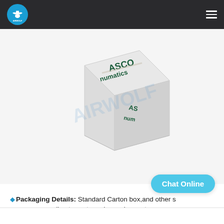AIRWOLF logo and navigation
[Figure (photo): A cardboard product box with 'ASCO numatics' branding text in dark green on white corrugated box, photographed at an angle, with a faint AIRWOLF watermark overlay]
◆Packaging Details: Standard Carton box,and other special package according to customer's requirement.